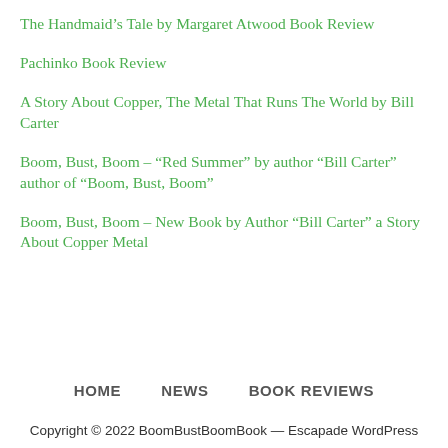The Handmaid’s Tale by Margaret Atwood Book Review
Pachinko Book Review
A Story About Copper, The Metal That Runs The World by Bill Carter
Boom, Bust, Boom – “Red Summer” by author “Bill Carter” author of “Boom, Bust, Boom”
Boom, Bust, Boom – New Book by Author “Bill Carter” a Story About Copper Metal
HOME     NEWS     BOOK REVIEWS
Copyright © 2022 BoomBustBoomBook — Escapade WordPress